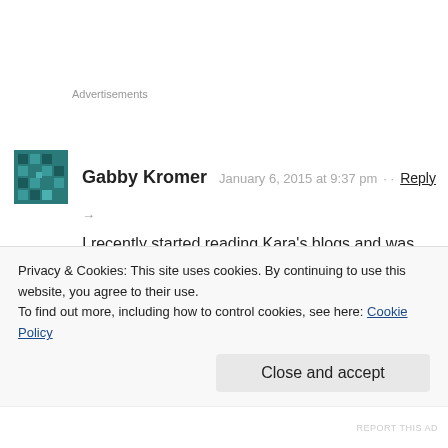Advertisements
Gabby Kromer   January 6, 2015 at 9:37 pm   Reply
I recently started reading Kara's blogs and was so comforted by the grace she has been able to find during her hard times, especially reflecting on as many positives she
Privacy & Cookies: This site uses cookies. By continuing to use this website, you agree to their use.
To find out more, including how to control cookies, see here: Cookie Policy
Close and accept